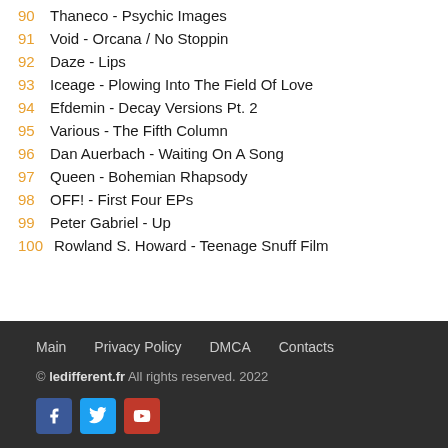90  Thaneco - Psychic Images
91  Void - Orcana / No Stoppin
92  Daze - Lips
93  Iceage - Plowing Into The Field Of Love
94  Efdemin - Decay Versions Pt. 2
95  Various - The Fifth Column
96  Dan Auerbach - Waiting On A Song
97  Queen - Bohemian Rhapsody
98  OFF! - First Four EPs
99  Peter Gabriel - Up
100 Rowland S. Howard - Teenage Snuff Film
Main  Privacy Policy  DMCA  Contacts
© ledifferent.fr All rights reserved. 2022